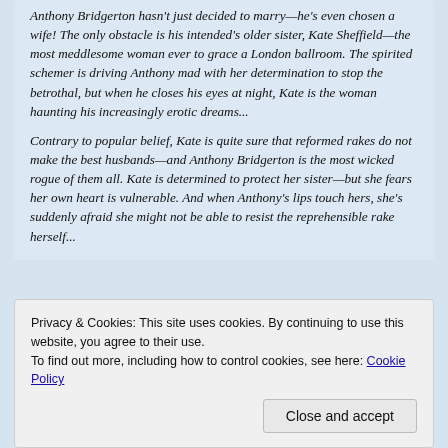Anthony Bridgerton hasn't just decided to marry—he's even chosen a wife! The only obstacle is his intended's older sister, Kate Sheffield—the most meddlesome woman ever to grace a London ballroom. The spirited schemer is driving Anthony mad with her determination to stop the betrothal, but when he closes his eyes at night, Kate is the woman haunting his increasingly erotic dreams...
Contrary to popular belief, Kate is quite sure that reformed rakes do not make the best husbands—and Anthony Bridgerton is the most wicked rogue of them all. Kate is determined to protect her sister—but she fears her own heart is vulnerable. And when Anthony's lips touch hers, she's suddenly afraid she might not be able to resist the reprehensible rake herself...
Privacy & Cookies: This site uses cookies. By continuing to use this website, you agree to their use.
To find out more, including how to control cookies, see here: Cookie Policy
Close and accept